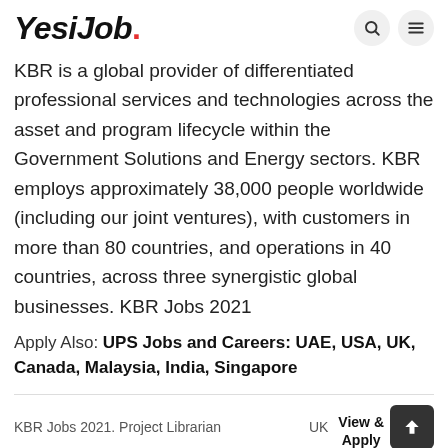YesiJob.
KBR is a global provider of differentiated professional services and technologies across the asset and program lifecycle within the Government Solutions and Energy sectors. KBR employs approximately 38,000 people worldwide (including our joint ventures), with customers in more than 80 countries, and operations in 40 countries, across three synergistic global businesses. KBR Jobs 2021
Apply Also: UPS Jobs and Careers: UAE, USA, UK, Canada, Malaysia, India, Singapore
KBR Jobs 2021. Project Librarian  UK  View & Apply